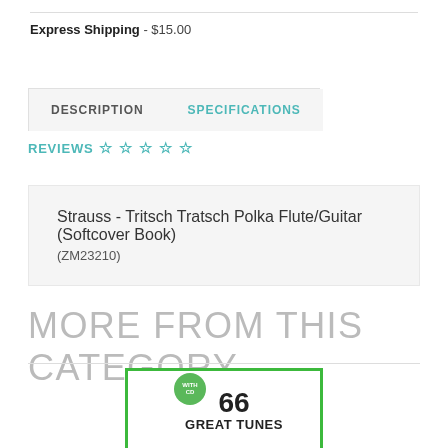Express Shipping - $15.00
DESCRIPTION
SPECIFICATIONS
REVIEWS ☆ ☆ ☆ ☆ ☆
Strauss - Tritsch Tratsch Polka Flute/Guitar (Softcover Book)
(ZM23210)
MORE FROM THIS CATEGORY
[Figure (illustration): Product card with green border showing '66 GREAT TUNES' with 'WITH CD' circular badge]